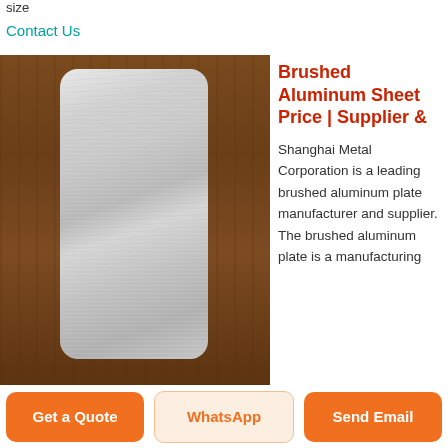size
Contact Us
[Figure (photo): Brushed aluminum sheet/plate displayed against a dark wood background. The plate is silver-gray with a brushed finish, rounded corners, positioned vertically in center.]
Brushed Aluminum Sheet Price | Supplier &
Shanghai Metal Corporation is a leading brushed aluminum plate manufacturer and supplier. The brushed aluminum plate is a manufacturing
Get a Quote
WhatsApp
Send Email